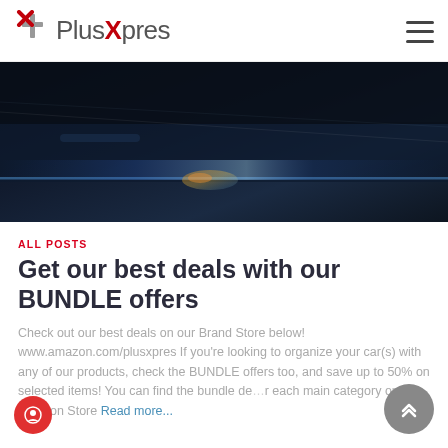PlusXpres
[Figure (photo): Dark blue car hood/roof close-up with reflections, shot from above at an angle, dramatic dark tones]
ALL POSTS
Get our best deals with our BUNDLE offers
Check out our best deals on our Brand Store below! www.amazon.com/plusxpres If you're looking to organize your car(s) with any of our products, check the BUNDLE offers too, and save up to 50% on selected items! You can find the bundle deals for each main category on our Amazon Store Read more...